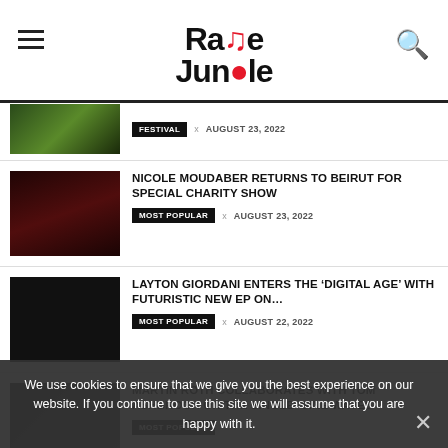Rave Jungle
FESTIVAL × AUGUST 23, 2022
NICOLE MOUDABER RETURNS TO BEIRUT FOR SPECIAL CHARITY SHOW
MOST POPULAR × AUGUST 23, 2022
LAYTON GIORDANI ENTERS THE 'DIGITAL AGE' WITH FUTURISTIC NEW EP ON...
MOST POPULAR × AUGUST 22, 2022
MARTIN ROTH COLLABORATES WITH TOM ASHBROOK ON THE SINGLE 'SINE WAVES'
MOST POPULAR
JACOB COLON IS BACK WITH ANOTHER POWERFUL BANGER 'THE TUNNEL'
MOST POPULAR × AUGUST 21, 2022
We use cookies to ensure that we give you the best experience on our website. If you continue to use this site we will assume that you are happy with it.